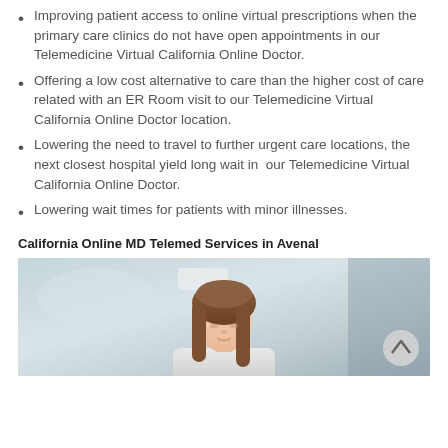Improving patient access to online virtual prescriptions when the primary care clinics do not have open appointments in our Telemedicine Virtual California Online Doctor.
Offering a low cost alternative to care than the higher cost of care related with an ER Room visit to our Telemedicine Virtual California Online Doctor location.
Lowering the need to travel to further urgent care locations, the next closest hospital yield long wait in our Telemedicine Virtual California Online Doctor.
Lowering wait times for patients with minor illnesses.
California Online MD Telemed Services in Avenal
[Figure (photo): A woman with long brown hair looking down, in a medical or office setting, blurred background.]